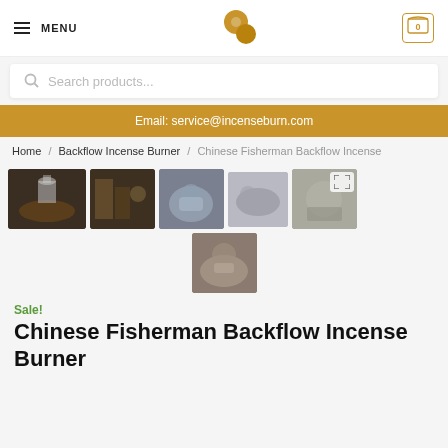MENU | [logo] | Cart: 0
Search products...
Email: service@incenseburn.com
Home / Backflow Incense Burner / Chinese Fisherman Backflow Incense
[Figure (photo): Gallery of 6 product photos showing Chinese Fisherman Backflow Incense Burner from various angles, including smoke effects and hand-held views.]
Sale!
Chinese Fisherman Backflow Incense Burner